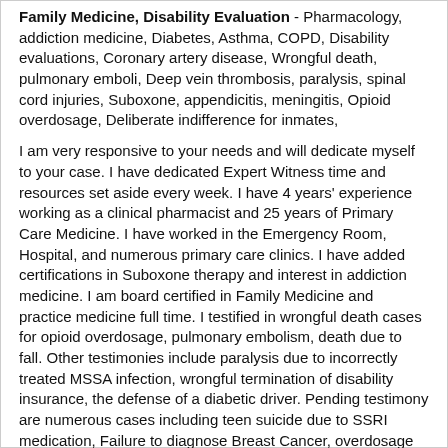Family Medicine, Disability Evaluation - Pharmacology, addiction medicine, Diabetes, Asthma, COPD, Disability evaluations, Coronary artery disease, Wrongful death, pulmonary emboli, Deep vein thrombosis, paralysis, spinal cord injuries, Suboxone, appendicitis, meningitis, Opioid overdosage, Deliberate indifference for inmates,
I am very responsive to your needs and will dedicate myself to your case. I have dedicated Expert Witness time and resources set aside every week. I have 4 years' experience working as a clinical pharmacist and 25 years of Primary Care Medicine. I have worked in the Emergency Room, Hospital, and numerous primary care clinics. I have added certifications in Suboxone therapy and interest in addiction medicine. I am board certified in Family Medicine and practice medicine full time. I testified in wrongful death cases for opioid overdosage, pulmonary embolism, death due to fall. Other testimonies include paralysis due to incorrectly treated MSSA infection, wrongful termination of disability insurance, the defense of a diabetic driver. Pending testimony are numerous cases including teen suicide due to SSRI medication, Failure to diagnose Breast Cancer, overdosage of antipsychotic medication in nursing home residents, Deliberate indifference in the care of